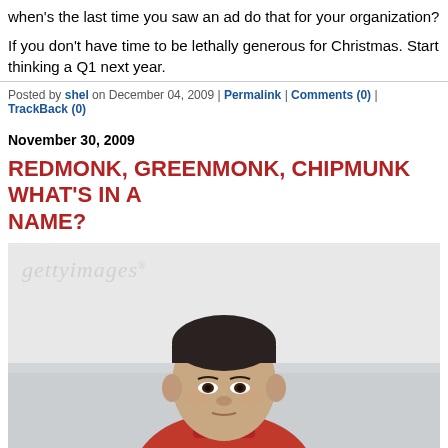when's the last time you saw an ad do that for your organization?
If you don't have time to be lethally generous for Christmas. Start thinking about Q1 next year.
Posted by shel on December 04, 2009 | Permalink | Comments (0) | TrackBack (0)
November 30, 2009
REDMONK, GREENMONK, CHIPMUNK WHAT'S IN A NAME?
[Figure (photo): Stock photo of a young Asian man in a red shirt, looking directly at the camera against a light background. Getty Images watermark visible.]